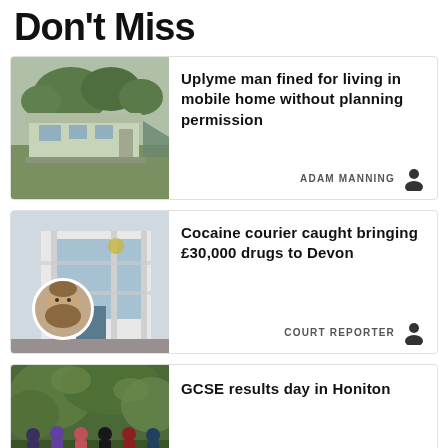Don't Miss
[Figure (photo): Mobile home / caravan on grass field with trees in background]
Uplyme man fined for living in mobile home without planning permission
ADAM MANNING
[Figure (photo): Court building with overlaid circular mugshot of bearded man]
Cocaine courier caught bringing £30,000 drugs to Devon
COURT REPORTER
[Figure (photo): Group of students standing in front of leafy green trees]
GCSE results day in Honiton